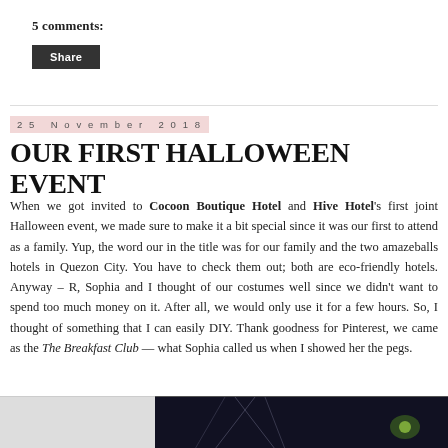5 comments:
Share
25 November 2018
OUR FIRST HALLOWEEN EVENT
When we got invited to Cocoon Boutique Hotel and Hive Hotel's first joint Halloween event, we made sure to make it a bit special since it was our first to attend as a family. Yup, the word our in the title was for our family and the two amazeballs hotels in Quezon City. You have to check them out; both are eco-friendly hotels. Anyway – R, Sophia and I thought of our costumes well since we didn't want to spend too much money on it. After all, we would only use it for a few hours. So, I thought of something that I can easily DIY. Thank goodness for Pinterest, we came as the The Breakfast Club — what Sophia called us when I showed her the pegs.
[Figure (photo): Two photos at the bottom of the page: left is a light gray/white photo, right is a dark photo showing spider webs on a dark background with a greenish light]